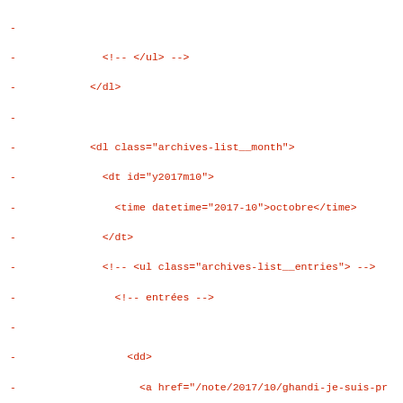- 
-             <!-- </ul> -->
-           </dl>
-
-           <dl class="archives-list__month">
-             <dt id="y2017m10">
-               <time datetime="2017-10">octobre</time>
-             </dt>
-             <!-- <ul class="archives-list__entries"> -->
-               <!-- entrées -->
-
-                 <dd>
-                   <a href="/note/2017/10/ghandi-je-suis-pr
-                 </dd>
-
-                 <dd>
-                   <a href="/note/2017/10/openbsd-6.2-sen-v
-                 </dd>
-
-                 <dd>
-                   <a href="/note/2017/10/reply-to-saralfdo
-                 </dd>
-
-                 <dd>
-                   <a href="/note/2017/10/why-we-sleep.html
-                 </dd>
-
-                 <dd>
-                   <a href="/note/2017/10/setup-a-desktop-e
-                 </dd>